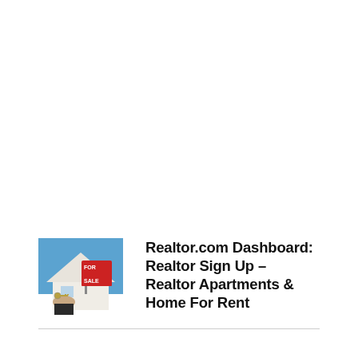[Figure (photo): A hand holding keys in front of a 'FOR SALE' real estate sign with a house and blue sky in the background.]
Realtor.com Dashboard: Realtor Sign Up – Realtor Apartments & Home For Rent